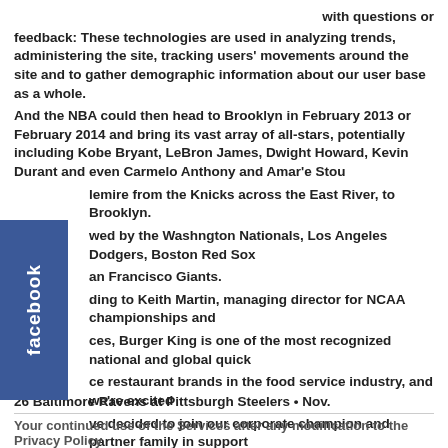with questions or feedback: These technologies are used in analyzing trends, administering the site, tracking users' movements around the site and to gather demographic information about our user base as a whole.
And the NBA could then head to Brooklyn in February 2013 or February 2014 and bring its vast array of all-stars, potentially including Kobe Bryant, LeBron James, Dwight Howard, Kevin Durant and even Carmelo Anthony and Amar'e Stoudemire from the Knicks across the East River, to Brooklyn.
[Figure (logo): Facebook logo tab on left side - blue rectangle with white 'facebook' text rotated vertically]
owed by the Washngton Nationals, Los Angeles Dodgers, Boston Red Sox an Francisco Giants.
ding to Keith Martin, managing director for NCAA championships and ces, Burger King is one of the most recognized national and global quick ce restaurant brands in the food service industry, and we're excited ve decided to join our corporate champion and partner family in support of NCAA student-athletes and NCAA championships.
Your interactions with these Features and Widgets are governed by the privacy policy of the company providing it.
26 Baltimore Ravens at Pittsburgh Steelers • Nov.
Your continued use of the Services after any modification to the Privacy Policy